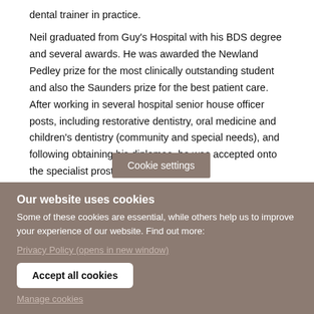dental trainer in practice.

Neil graduated from Guy's Hospital with his BDS degree and several awards. He was awarded the Newland Pedley prize for the most clinically outstanding student and also the Saunders prize for the best patient care. After working in several hospital senior house officer posts, including restorative dentistry, oral medicine and children's dentistry (community and special needs), and following obtaining his diplomas, he was accepted onto the specialist prost...ate degree at
Cookie settings
Our website uses cookies
Some of these cookies are essential, while others help us to improve your experience of our website. Find out more:
Privacy Policy (opens in new window)
Accept all cookies
Manage cookies